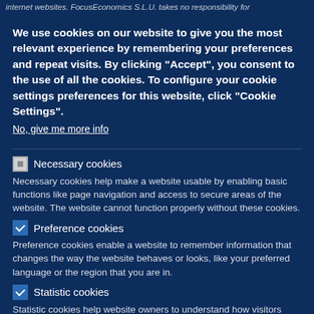internet websites. FocusEconomics S.L.U. takes no responsibility for
We use cookies on our website to give you the most relevant experience by remembering your preferences and repeat visits. By clicking “Accept”, you consent to the use of all the cookies. To configure your cookie settings preferences for this website, click "Cookie Settings".
No, give me more info
Necessary cookies
Necessary cookies help make a website usable by enabling basic functions like page navigation and access to secure areas of the website. The website cannot function properly without these cookies.
Preference cookies
Preference cookies enable a website to remember information that changes the way the website behaves or looks, like your preferred language or the region that you are in.
Statistic cookies
Statistic cookies help website owners to understand how visitors interact with websites by collecting and reporting information anonymously.
OK, I agree
Accept all cookies
What does the US-China tussle over Taiwan mean for the global economy?
Why does Latin American have a grown problem?
Why is OPEC struggling to raise oil output?
's labor market: A bright spot on a gloomy horizon
an emerging market debt crisis?